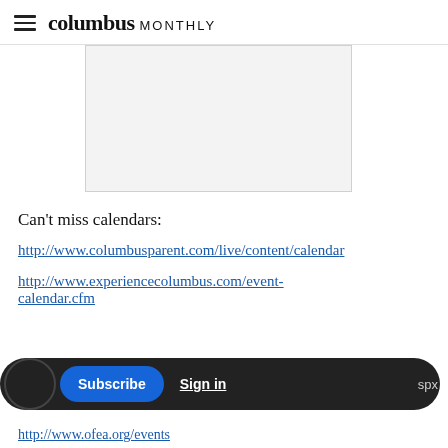columbus MONTHLY
[Figure (other): Advertisement placeholder box with light gray background and border]
Can't miss calendars:
http://www.columbusparent.com/live/content/calendar
http://www.experiencecolumbus.com/event-calendar.cfm
Subscribe  Sign in
http://www.ofea.org/events